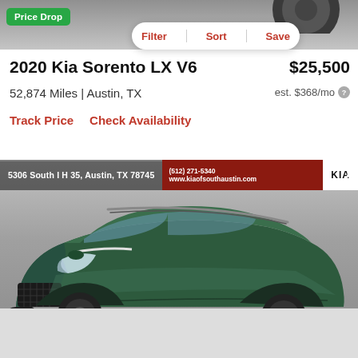[Figure (photo): Top portion of a car visible at the top of the screen, gray background]
Price Drop
Filter | Sort | Save
2020 Kia Sorento LX V6
$25,500
52,874 Miles | Austin, TX
est. $368/mo
Track Price    Check Availability
[Figure (photo): 2020 Kia Sorento LX V6 in dark green color, front 3/4 view, at Kia of South Austin dealership. Dealer address: 5306 South I H 35, Austin, TX 78745. Website: www.kiaofsouthaustin.com]